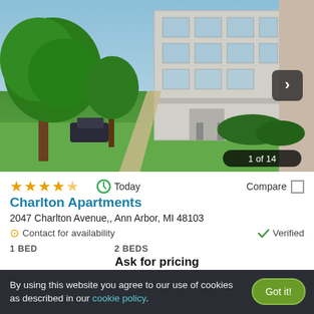[Figure (photo): Exterior photo of Charlton Apartments, a multi-story white/grey building with green trees and lawn, showing a walking path leading to the building entrance. Badge shows '1 of 14' and a navigation arrow on the right.]
★★★★★ Today  Compare □
Charlton Apartments
2047 Charlton Avenue,, Ann Arbor, MI 48103
⊙ Contact for availability   ✓ Verified
1 BED   2 BEDS
Ask for pricing
By using this website you agree to our use of cookies as described in our cookie policy.